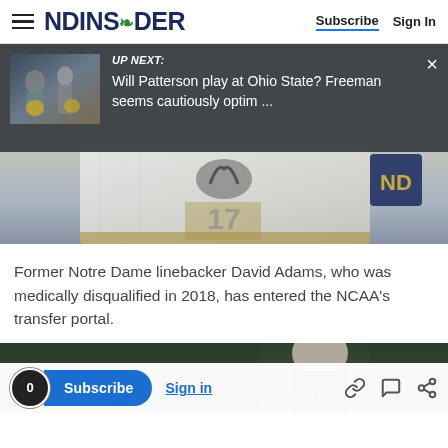NDINSiDER — Subscribe | Sign In
[Figure (screenshot): Up Next overlay with thumbnail of Notre Dame football players. Text reads: UP NEXT: Will Patterson play at Ohio State? Freeman seems cautiously optim ...]
[Figure (photo): Close-up photo of Notre Dame football player's white jersey with Under Armour logo and ND logo on shoulder]
Former Notre Dame linebacker David Adams, who was medically disqualified in 2018, has entered the NCAA's transfer portal.
[Figure (photo): Photo of a coach with gray hair in a dark jacket, partially cropped]
0  Subscribe  Sign in